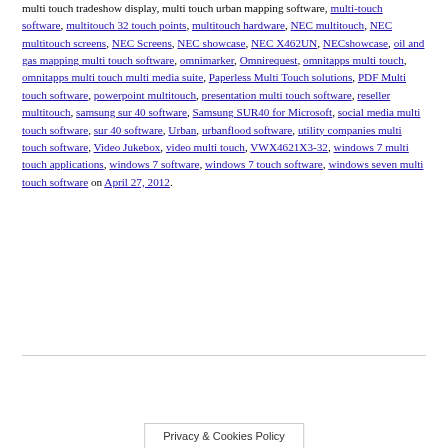multi touch tradeshow display, multi touch urban mapping software, multi-touch software, multitouch 32 touch points, multitouch hardware, NEC multitouch, NEC multitouch screens, NEC Screens, NEC showcase, NEC X462UN, NECshowcase, oil and gas mapping multi touch software, omnimarker, Omnirequest, omnitapps multi touch, omnitapps multi touch multi media suite, Paperless Multi Touch solutions, PDF Multi touch software, powerpoint multitouch, presentation multi touch software, reseller multitouch, samsung sur 40 software, Samsung SUR40 for Microsoft, social media multi touch software, sur 40 software, Urban, urbanflood software, utility companies multi touch software, Video Jukebox, video multi touch, VWX4621X3-32, windows 7 multi touch applications, windows 7 software, windows 7 touch software, windows seven multi touch software on April 27, 2012.
Privacy & Cookies Policy